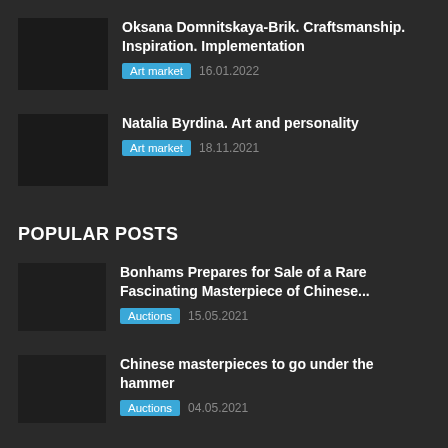Oksana Domnitskaya-Brik. Craftsmanship. Inspiration. Implementation | Art market | 16.01.2022
Natalia Byrdina. Art and personality | Art market | 18.11.2021
POPULAR POSTS
Bonhams Prepares for Sale of a Rare Fascinating Masterpiece of Chinese... | Auctions | 15.05.2021
Chinese masterpieces to go under the hammer | Auctions | 04.05.2021